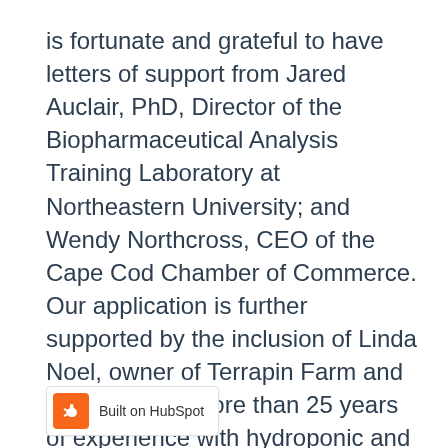is fortunate and grateful to have letters of support from Jared Auclair, PhD, Director of the Biopharmaceutical Analysis Training Laboratory at Northeastern University; and Wendy Northcross, CEO of the Cape Cod Chamber of Commerce. Our application is further supported by the inclusion of Linda Noel, owner of Terrapin Farm and a farmer with more than 25 years of experience with hydroponic and soil-based crops.
So, the next time brilliance strikes—and the reality of required funding sets in—take some time to explore the SBIR grant program to see if it is right for you. Learn more about SBIR